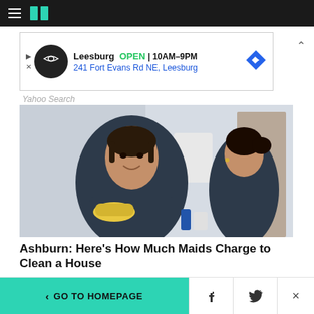HuffPost navigation bar with hamburger menu and logo
[Figure (other): Advertisement banner: Leesburg OPEN 10AM-9PM, 241 Fort Evans Rd NE, Leesburg]
Yahoo Search
[Figure (photo): Two women in dark scrubs, one smiling at camera with yellow rubber gloves crossed over arms, another in background in a white room]
Ashburn: Here's How Much Maids Charge to Clean a House
Red Gobo | Search Ads
< GO TO HOMEPAGE  [Facebook] [Twitter] [X]